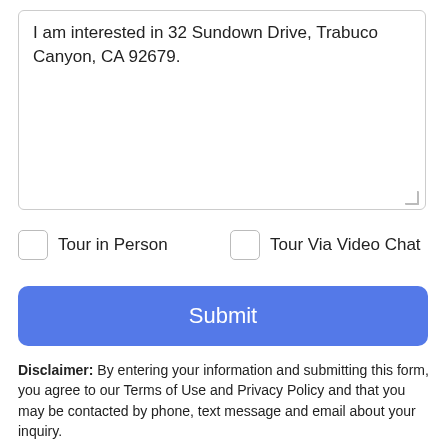I am interested in 32 Sundown Drive, Trabuco Canyon, CA 92679.
Tour in Person
Tour Via Video Chat
Submit
Disclaimer: By entering your information and submitting this form, you agree to our Terms of Use and Privacy Policy and that you may be contacted by phone, text message and email about your inquiry.
Based on information from California Regional Multiple Listing
Take a Tour
Ask A Question